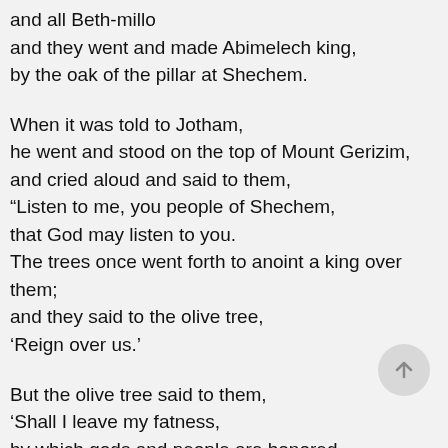and all Beth-millo
and they went and made Abimelech king,
by the oak of the pillar at Shechem.
When it was told to Jotham,
he went and stood on the top of Mount Gerizim,
and cried aloud and said to them,
“Listen to me, you people of Shechem,
that God may listen to you.
The trees once went forth to anoint a king over them;
and they said to the olive tree,
‘Reign over us.’
But the olive tree said to them,
‘Shall I leave my fatness,
by which gods and people are honored,
and go to sway over the trees?’